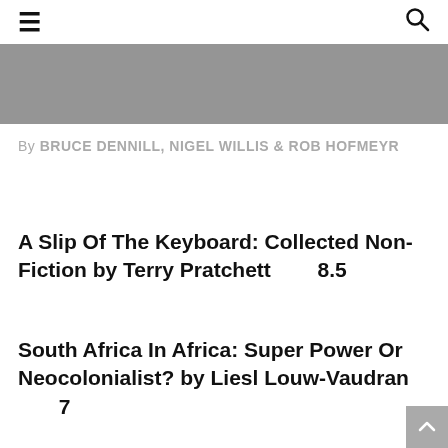☰ [hamburger menu] [search icon]
[Figure (other): Grey banner/header image area]
By BRUCE DENNILL, NIGEL WILLIS & ROB HOFMEYR
A Slip Of The Keyboard: Collected Non-Fiction by Terry Pratchett    8.5
South Africa In Africa: Super Power Or Neocolonialist? by Liesl Louw-Vaudran        7